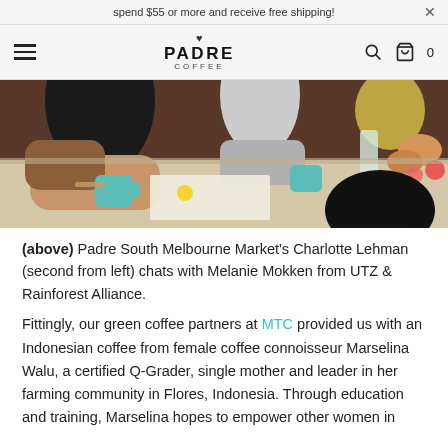spend $55 or more and receive free shipping!
[Figure (logo): Padre Coffee logo with hamburger menu, search icon, and cart icon showing 0]
[Figure (photo): People sitting around a long table with coffee cups and food, chatting at what appears to be a cafe or event setting]
(above) Padre South Melbourne Market's Charlotte Lehman (second from left) chats with Melanie Mokken from UTZ & Rainforest Alliance.
Fittingly, our green coffee partners at MTC provided us with an Indonesian coffee from female coffee connoisseur Marselina Walu, a certified Q-Grader, single mother and leader in her farming community in Flores, Indonesia. Through education and training, Marselina hopes to empower other women in